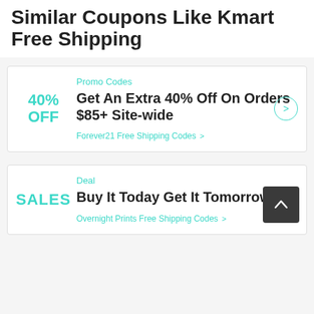Similar Coupons Like Kmart Free Shipping
Promo Codes
40% OFF
Get An Extra 40% Off On Orders $85+ Site-wide
Forever21 Free Shipping Codes >
Deal
SALES
Buy It Today Get It Tomorrow
Overnight Prints Free Shipping Codes >